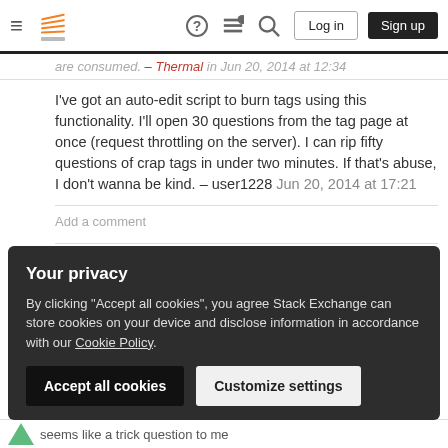Stack Exchange navigation bar with hamburger menu, logo, help, chat, search icons, Log in and Sign up buttons
are consumed. – Thermal in Jun 20, 2014 at 12:34
I've got an auto-edit script to burn tags using this functionality. I'll open 30 questions from the tag page at once (request throttling on the server). I can rip fifty questions of crap tags in under two minutes. If that's abuse, I don't wanna be kind. – user1228 Jun 20, 2014 at 17:21
Add a comment
1 Answer
Sorted by:
Highest score (default)
Your privacy
By clicking "Accept all cookies", you agree Stack Exchange can store cookies on your device and disclose information in accordance with our Cookie Policy.
Accept all cookies  Customize settings
seems like a trick question to me